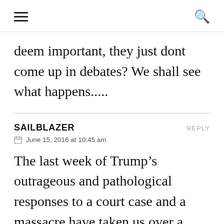☰ 🔍
deem important, they just dont come up in debates? We shall see what happens.....
SAILBLAZER
REPLY
June 15, 2016 at 10:45 am
The last week of Trump's outrageous and pathological responses to a court case and a massacre have taken us over a cliff. Down ballot candidates are